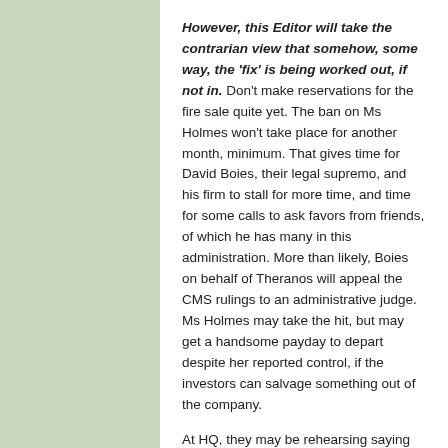However, this Editor will take the contrarian view that somehow, some way, the 'fix' is being worked out, if not in. Don't make reservations for the fire sale quite yet. The ban on Ms Holmes won't take place for another month, minimum. That gives time for David Boies, their legal supremo, and his firm to stall for more time, and time for some calls to ask favors from friends, of which he has many in this administration. More than likely, Boies on behalf of Theranos will appeal the CMS rulings to an administrative judge. Ms Holmes may take the hit, but may get a handsome payday to depart despite her reported control, if the investors can salvage something out of the company.
At HQ, they may be rehearsing saying 'mea culpa, mea culpa, mea maxima culpa' three times, kneeling deeply, in preparation to Bring Forth And Singing...